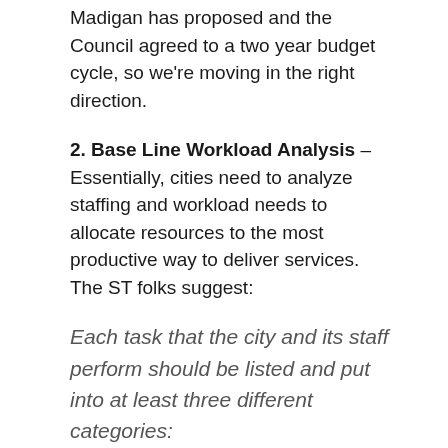Madigan has proposed and the Council agreed to a two year budget cycle, so we're moving in the right direction.
2. Base Line Workload Analysis – Essentially, cities need to analyze staffing and workload needs to allocate resources to the most productive way to deliver services. The ST folks suggest:
Each task that the city and its staff perform should be listed and put into at least three different categories:
Those things that are mandated by the State and Federal Gov't
Those things that are required by the Council or another public body
Those things that are done exclusively for the